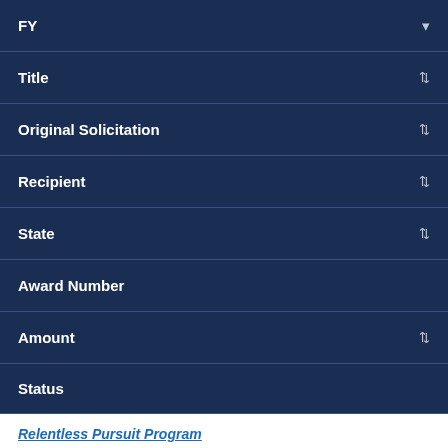FY
Title
Original Solicitation
Recipient
State
Award Number
Amount
Status
Relentless Pursuit Program
Rate This Page
CITY OF
Top